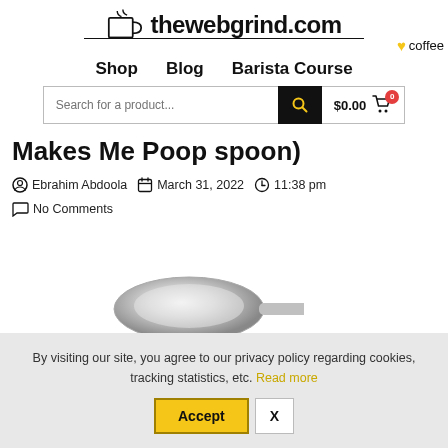thewebgrind.com ♥ coffee
Shop  Blog  Barista Course
Search for a product...  $0.00  0
Makes Me Poop spoon)
Ebrahim Abdoola  March 31, 2022  11:38 pm  No Comments
[Figure (photo): Silver metallic spoon, partially visible at bottom of page]
By visiting our site, you agree to our privacy policy regarding cookies, tracking statistics, etc. Read more
Accept  X